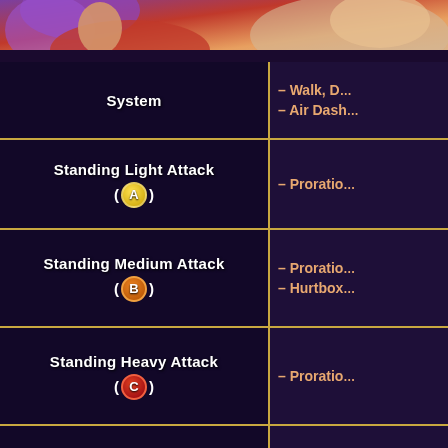[Figure (illustration): Anime-style game character artwork showing colorful fighting game characters with purple and red color scheme]
| Move | Properties |
| --- | --- |
| System | – Walk, D…
– Air Dash… |
| Standing Light Attack
(A) | – Proratio… |
| Standing Medium Attack
(B) | – Proratio…
– Hurtbox… |
| Standing Heavy Attack
(C) | – Proratio… |
| Crouching Medium Attack
(↓+B) | – Proratio… |
| Aerial Medium Attack | … |